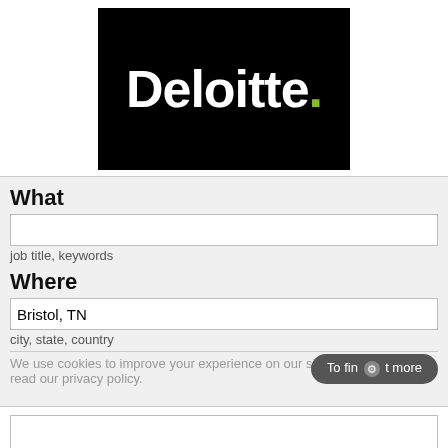[Figure (logo): Deloitte logo: white bold text 'Deloitte.' on black background, with green dot after the period]
What
job title, keywords
Where
Bristol, TN
city, state, country
We use cookies to improve your experience on our site. To find out more, read our privacy policy.
Home pt